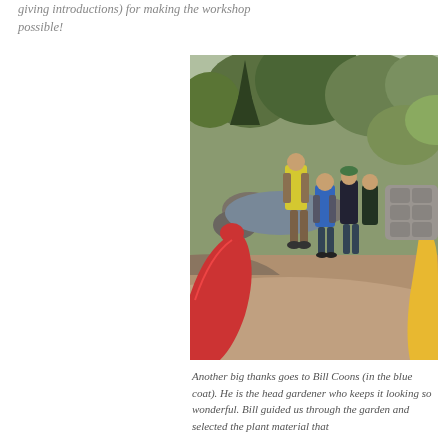giving introductions) for making the workshop possible!
[Figure (photo): Group of people in rain gear standing on a garden path surrounded by rocks, a pond, and trees. One person in a yellow jacket stands elevated, others in blue, red, and yellow coats gather around listening.]
Another big thanks goes to Bill Coons (in the blue coat). He is the head gardener who keeps it looking so wonderful. Bill guided us through the garden and selected the plant material that